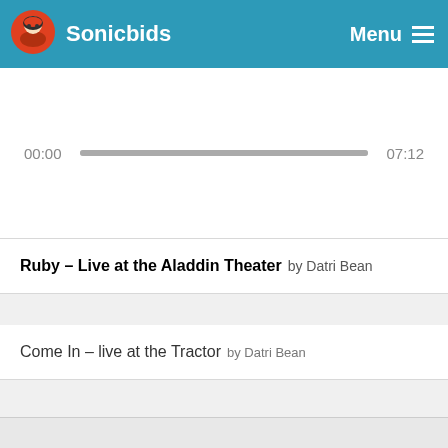Sonicbids  Menu
[Figure (screenshot): Audio player progress bar showing 00:00 on the left and 07:12 on the right with a full gray progress bar]
Ruby - Live at the Aladdin Theater by Datri Bean
Come In – live at the Tractor by Datri Bean